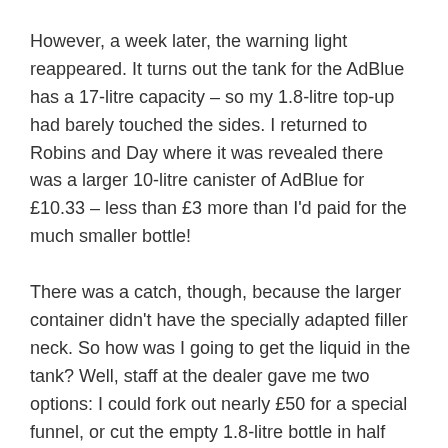However, a week later, the warning light reappeared. It turns out the tank for the AdBlue has a 17-litre capacity – so my 1.8-litre top-up had barely touched the sides. I returned to Robins and Day where it was revealed there was a larger 10-litre canister of AdBlue for £10.33 – less than £3 more than I'd paid for the much smaller bottle!
There was a catch, though, because the larger container didn't have the specially adapted filler neck. So how was I going to get the liquid in the tank? Well, staff at the dealer gave me two options: I could fork out nearly £50 for a special funnel, or cut the empty 1.8-litre bottle in half and use it as a filler neck. Guess which method I chose.